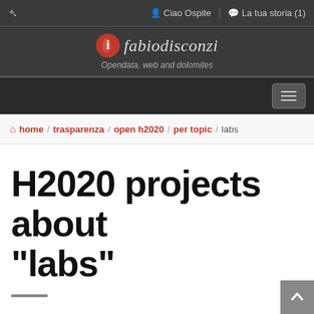Ciao Ospite | La tua storia (1)
[Figure (logo): fabiodisconzi logo with red circle icon and italic text, tagline: Opendata, web and dolomites]
Navigation toggle button
home / trasparenza / open h2020 / per topic / labs
H2020 projects about "labs"